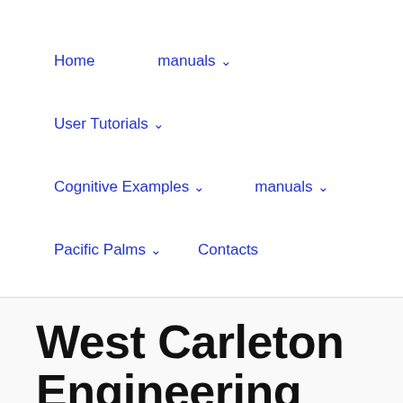Home   manuals ⌄
User Tutorials ⌄
Cognitive Examples ⌄   manuals ⌄
Pacific Palms ⌄   Contacts
West Carleton Engineering